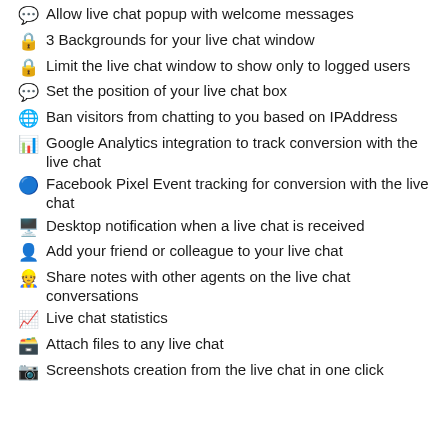💬 Allow live chat popup with welcome messages
🔒 3 Backgrounds for your live chat window
🔒 Limit the live chat window to show only to logged users
💬 Set the position of your live chat box
🌐 Ban visitors from chatting to you based on IPAddress
📊 Google Analytics integration to track conversion with the live chat
🔵 Facebook Pixel Event tracking for conversion with the live chat
🖥️ Desktop notification when a live chat is received
👤 Add your friend or colleague to your live chat
👷 Share notes with other agents on the live chat conversations
📈 Live chat statistics
🗃️ Attach files to any live chat
📷 Screenshots creation from the live chat in one click